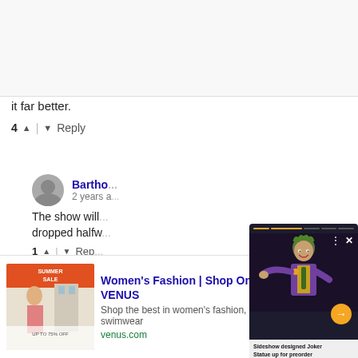it far better.
4 ^ | v Reply
Bartho... 2 years a...
The show will... dropped halfw...
1 ^ | v Rep...
Hun... 2 yea...
CW i feel w... Watch them... though whe...
3 ^ | v Reply
[Figure (screenshot): Popup ad showing a Joker statue figure with progress bar, close and more options buttons, arrow navigation button, and caption 'Sideshow designed Joker Statue up for preorder']
Women's Fashion | Shop Online | VENUS
Shop the best in women's fashion, clothing, swimwear
venus.com